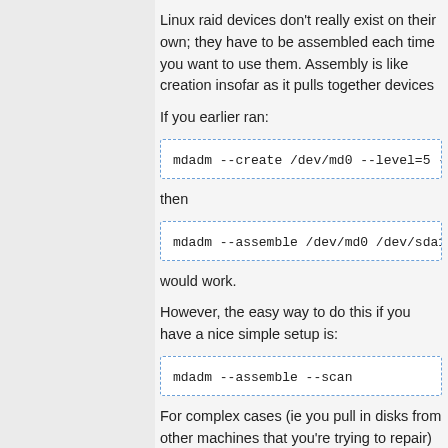Linux raid devices don't really exist on their own; they have to be assembled each time you want to use them. Assembly is like creation insofar as it pulls together devices
If you earlier ran:
mdadm --create /dev/md0 --level=5 -
then
mdadm --assemble /dev/md0 /dev/sda1
would work.
However, the easy way to do this if you have a nice simple setup is:
mdadm --assemble --scan
For complex cases (ie you pull in disks from other machines that you're trying to repair) this has the potential to start arrays you don't really